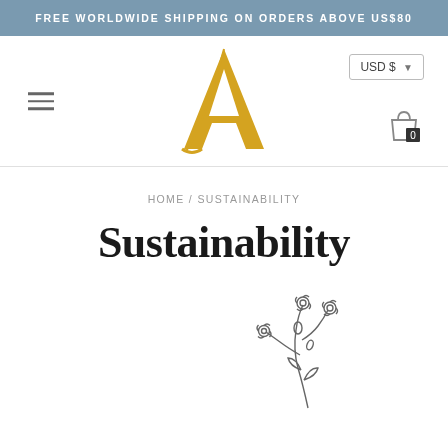FREE WORLDWIDE SHIPPING ON ORDERS ABOVE US$80
[Figure (logo): Stylized golden letter A logo for a fashion/lifestyle brand]
USD $ ▾
HOME / SUSTAINABILITY
Sustainability
[Figure (illustration): Line drawing illustration of small wildflowers/botanical stems]